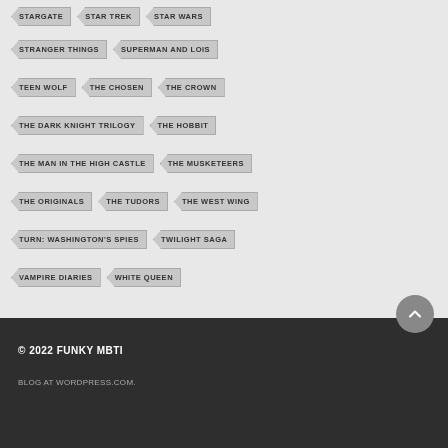STARGATE
STAR TREK
STAR WARS
STRANGER THINGS
SUPERMAN AND LOIS
TEEN WOLF
THE CHOSEN
THE CROWN
THE DARK KNIGHT TRILOGY
THE HOBBIT
THE MAN IN THE HIGH CASTLE
THE MUSKETEERS
THE ORIGINALS
THE TUDORS
THE WEST WING
TURN: WASHINGTON'S SPIES
TWILIGHT SAGA
VAMPIRE DIARIES
WHITE QUEEN
© 2022 FUNKY MBTI
BLOG AT WORDPRESS.COM.